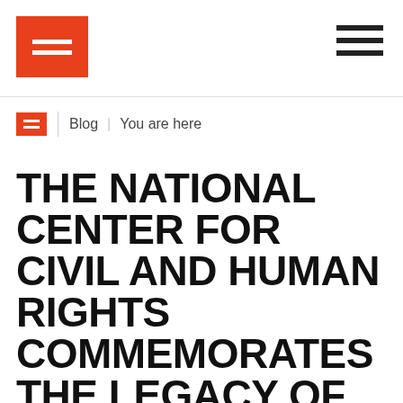The National Center for Civil and Human Rights — Blog | You are here
THE NATIONAL CENTER FOR CIVIL AND HUMAN RIGHTS COMMEMORATES THE LEGACY OF DR. MARTIN LUTHER KING, JR. WITH SLATE OF EVENTS